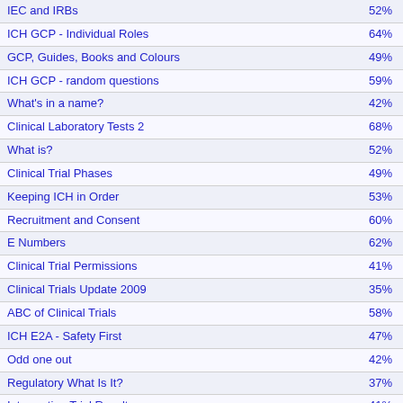| Quiz Name | Score |
| --- | --- |
| IEC and IRBs | 52% |
| ICH GCP - Individual Roles | 64% |
| GCP, Guides, Books and Colours | 49% |
| ICH GCP - random questions | 59% |
| What's in a name? | 42% |
| Clinical Laboratory Tests 2 | 68% |
| What is? | 52% |
| Clinical Trial Phases | 49% |
| Keeping ICH in Order | 53% |
| Recruitment and Consent | 60% |
| E Numbers | 62% |
| Clinical Trial Permissions | 41% |
| Clinical Trials Update 2009 | 35% |
| ABC of Clinical Trials | 58% |
| ICH E2A - Safety First | 47% |
| Odd one out | 42% |
| Regulatory What Is It? | 37% |
| Interpreting Trial Results | 41% |
| Know your GCP | 46% |
| Ordering GCP | 59% |
| ClinicalTrials.gov | 39% |